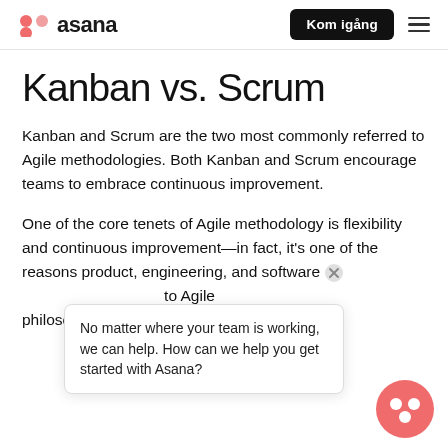Asana — Kom igång
Kanban vs. Scrum
Kanban and Scrum are the two most commonly referred to Agile methodologies. Both Kanban and Scrum encourage teams to embrace continuous improvement.
One of the core tenets of Agile methodology is flexibility and continuous improvement—in fact, it's one of the reasons product, engineering, and software [teams] gravitate to Agile philosophies ... big part of both Kanb...
No matter where your team is working, we can help. How can we help you get started with Asana?